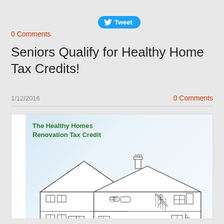[Figure (other): Twitter Tweet button with bird icon]
0 Comments
Seniors Qualify for Healthy Home Tax Credits!
1/12/2016
0 Comments
[Figure (illustration): The Healthy Homes Renovation Tax Credit - cross-section illustration of a two-storey house showing interior rooms with furniture and fixtures, drawn in outline style on a light blue background]